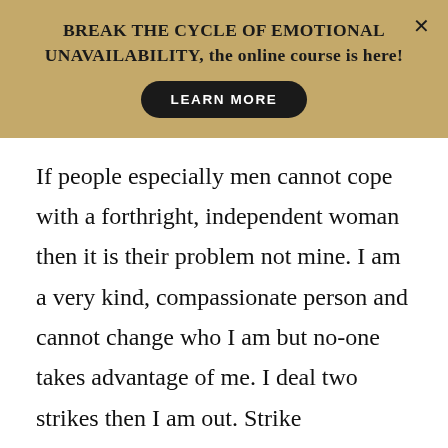BREAK THE CYCLE OF EMOTIONAL UNAVAILABILITY, the online course is here!
If people especially men cannot cope with a forthright, independent woman then it is their problem not mine. I am a very kind, compassionate person and cannot change who I am but no-one takes advantage of me. I deal two strikes then I am out. Strike